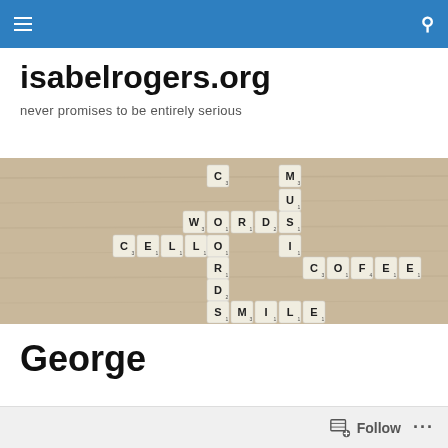Navigation bar with hamburger menu and search icon
isabelrogers.org
never promises to be entirely serious
[Figure (photo): Photo of Scrabble tiles arranged on a wooden surface spelling out WORDS, CELLORD, MUSIC, COFFEE, SMILE in a crossword-like pattern]
George
Follow ...